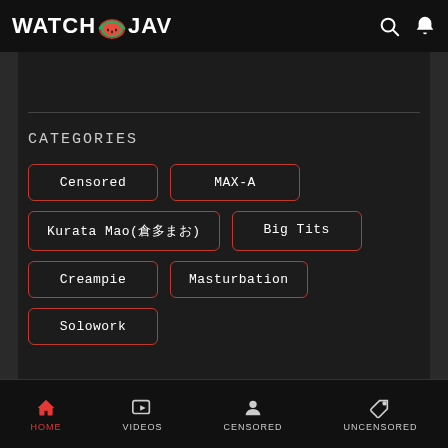WATCH JAV
CATEGORIES
Censored
MAX-A
Kurata Mao(倉多まお)
Big Tits
Creampie
Masturbation
Solowork
HOME  VIDEOS  CENSORED  UNCENSORED